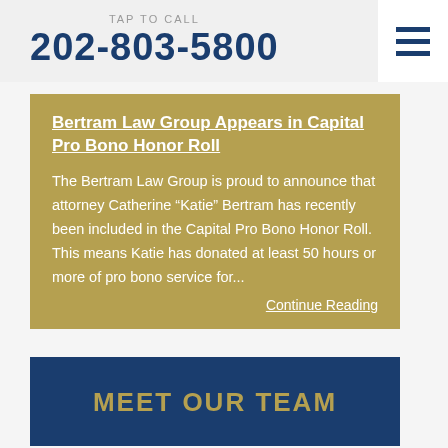TAP TO CALL 202-803-5800
Bertram Law Group Appears in Capital Pro Bono Honor Roll
The Bertram Law Group is proud to announce that attorney Catherine “Katie” Bertram has recently been included in the Capital Pro Bono Honor Roll. This means Katie has donated at least 50 hours or more of pro bono service for...
Continue Reading
MEET OUR TEAM